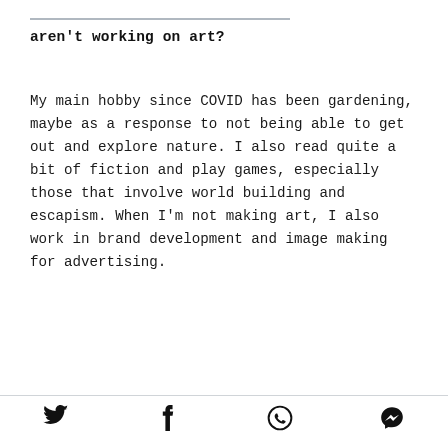aren't working on art?
My main hobby since COVID has been gardening, maybe as a response to not being able to get out and explore nature. I also read quite a bit of fiction and play games, especially those that involve world building and escapism. When I'm not making art, I also work in brand development and image making for advertising.
[Twitter] [Facebook] [WhatsApp] [Messenger]